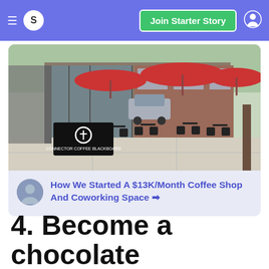S | Join Starter Story
[Figure (screenshot): Screenshot of a coffee shop exterior with outdoor seating, red umbrellas, and a business logo overlay]
How We Started A $13K/Month Coffee Shop And Coworking Space →
4. Become a chocolate